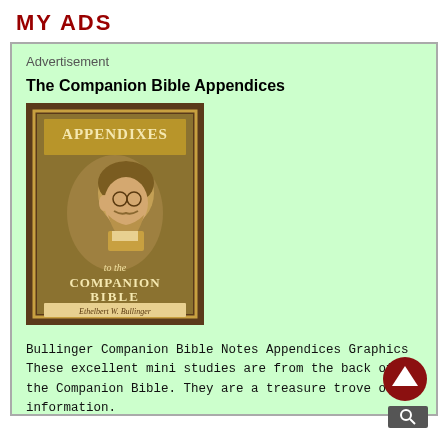MY ADS
Advertisement
The Companion Bible Appendices
[Figure (illustration): Book cover of 'Appendixes to the Companion Bible' showing a portrait of an elderly bearded man in profile, with text 'APPENDIXES', 'to the', 'COMPANION BIBLE' and a signature at the bottom, set against a dark brown leather-textured background with a gold bordered inner panel.]
Bullinger Companion Bible Notes Appendices Graphics These excellent mini studies are from the back of the Companion Bible. They are a treasure trove of information.